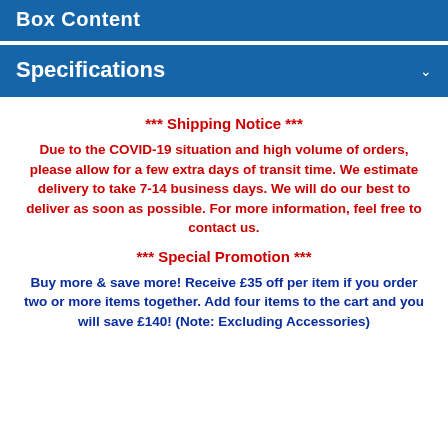Box Content
Specifications
*** Shipping Notice ***
Due to the COVID-19 situation and high volume of orders, please allow for a few extra days of transit time. We estimate delivery to take 7-14 business days. We will do our best to deliver as soon as possible. For more information, feel free to contact us.
*** Special Promotion ***
Buy more & save more! Receive £35 off per item if you order two or more items together. Add four items to the cart and you will save £140! (Note: Excluding Accessories)